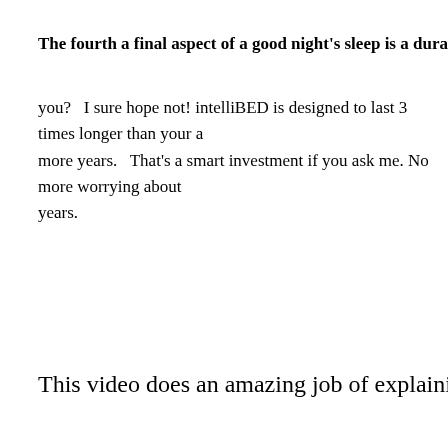The fourth a final aspect of a good night's sleep is a durable long-lasting m
you?   I sure hope not! intelliBED is designed to last 3 times longer than your a more years.   That's a smart investment if you ask me. No more worrying about years.
This video does an amazing job of explaining everything I just d